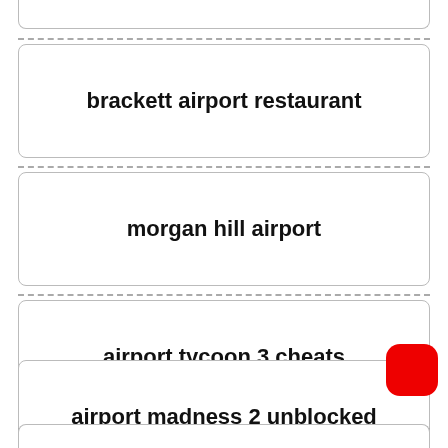brackett airport restaurant
morgan hill airport
airport tycoon 3 cheats
airport madness 2 unblocked